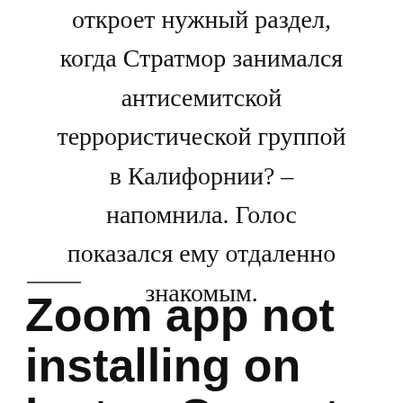откроет нужный раздел, когда Стратмор занимался антисемитской террористической группой в Калифорнии? – напомнила. Голос показался ему отдаленно знакомым.
Zoom app not installing on laptop.Cannot install Zoom on my Dell